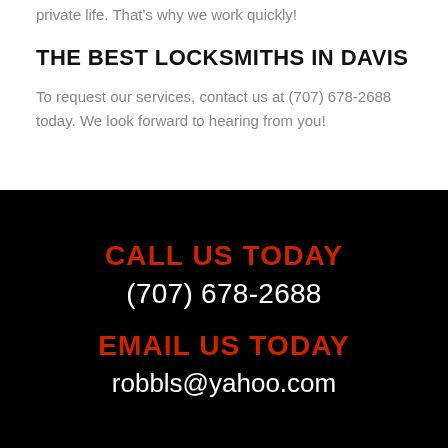private life. That's why we work quickly!
THE BEST LOCKSMITHS IN DAVIS
To request our services, contact us at (707) 678-2688 today. We look forward to hearing from you!
CALL US TODAY
(707) 678-2688
EMAIL US TODAY
robbls@yahoo.com